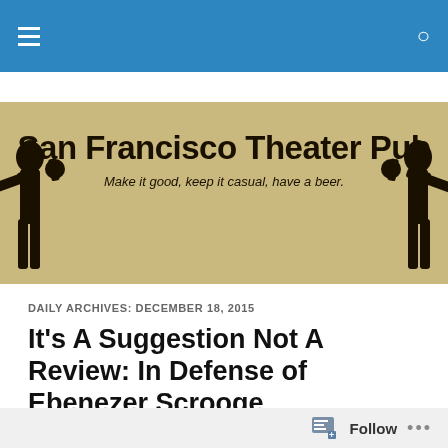San Francisco Theater Pub navigation bar
[Figure (illustration): San Francisco Theater Pub website banner with tan/khaki background, bold black title 'San Francisco Theater Pub', subtitle 'Make it good, keep it casual, have a beer.' with decorative silhouette figures on left and right sides]
DAILY ARCHIVES: DECEMBER 18, 2015
It’s A Suggestion Not A Review: In Defense of Ebenezer Scrooge
Dave Sikula. spirit of Christmas.
Follow